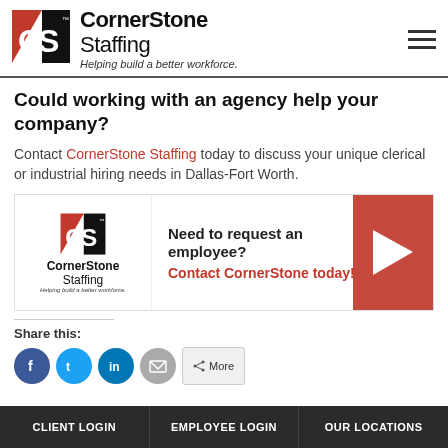[Figure (logo): CornerStone Staffing logo with CS monogram in red and black, company name and tagline 'Helping build a better workforce.']
Could working with an agency help your company?
Contact CornerStone Staffing today to discuss your unique clerical or industrial hiring needs in Dallas-Fort Worth.
[Figure (infographic): CornerStone Staffing banner ad: 'Need to request an employee? Contact CornerStone today!' with logo and red arrow graphic.]
Share this:
[Figure (other): Social share icons: Facebook, Twitter, LinkedIn, Email, and a share button]
CLIENT LOGIN   EMPLOYEE LOGIN   OUR LOCATIONS